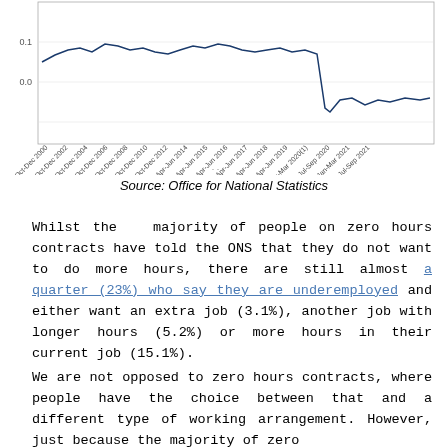[Figure (continuous-plot): A line chart showing data over time from Oct-Dec 2000 to Jul-Sep 2021, with y-axis values around 0.0 to 0.1. Diagonal x-axis date labels. Appears to be a cropped bottom portion of a larger chart.]
Source: Office for National Statistics
Whilst the majority of people on zero hours contracts have told the ONS that they do not want to do more hours, there are still almost a quarter (23%) who say they are underemployed and either want an extra job (3.1%), another job with longer hours (5.2%) or more hours in their current job (15.1%).
We are not opposed to zero hours contracts, where people have the choice between that and a different type of working arrangement. However, just because the majority of zero